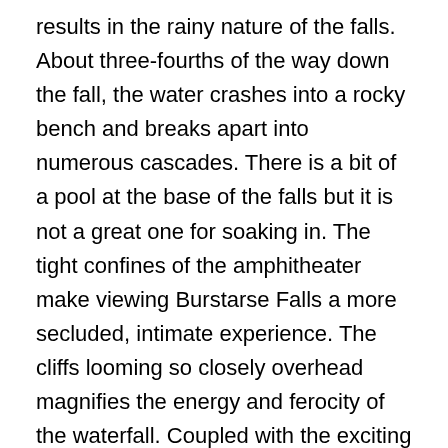results in the rainy nature of the falls. About three-fourths of the way down the fall, the water crashes into a rocky bench and breaks apart into numerous cascades. There is a bit of a pool at the base of the falls but it is not a great one for soaking in. The tight confines of the amphitheater make viewing Burstarse Falls a more secluded, intimate experience. The cliffs looming so closely overhead magnifies the energy and ferocity of the waterfall. Coupled with the exciting scramble up the narrow canyon to the falls and the many fine cataracts along the way, the hike to Burstarse Falls is possibly the Mount Shasta area's best spring hike. The route along the Pacific Crest Trail is low enough to be free of snow far earlier than most of the trails in the area. Of course, spring is the best time to view the falls because Burstarse Creek has a very limited watershed. Though it usually has a meager flow